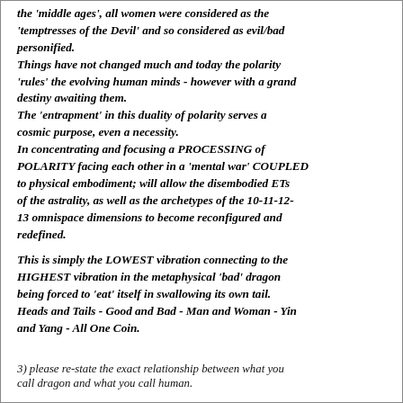the 'middle ages', all women were considered as the 'temptresses of the Devil' and so considered as evil/bad personified.
Things have not changed much and today the polarity 'rules' the evolving human minds - however with a grand destiny awaiting them.
The 'entrapment' in this duality of polarity serves a cosmic purpose, even a necessity.
In concentrating and focusing a PROCESSING of POLARITY facing each other in a 'mental war' COUPLED to physical embodiment; will allow the disembodied ETs of the astrality, as well as the archetypes of the 10-11-12-13 omnispace dimensions to become reconfigured and redefined.
This is simply the LOWEST vibration connecting to the HIGHEST vibration in the metaphysical 'bad' dragon being forced to 'eat' itself in swallowing its own tail.
Heads and Tails - Good and Bad - Man and Woman - Yin and Yang - All One Coin.
3) please re-state the exact relationship between what you call dragon and what you call human.
The PHYSICAL Evolution of modern man from Old World Monkeys so 20 million years ago encompassed the earlier evolvement of the mammalian midbrain from its reptilian brainstem precursor.
About 5 million years ago, the Australopithecine